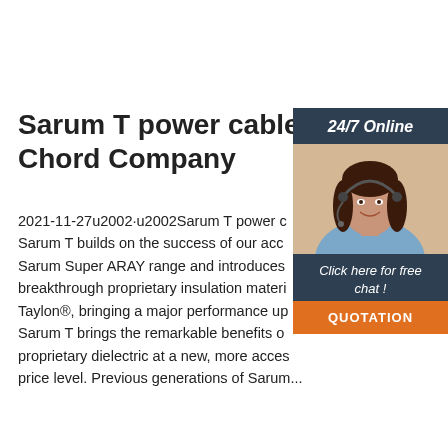Sarum T power cable - T Chord Company
2021-11-27u2002·u2002Sarum T power c Sarum T builds on the success of our acc Sarum Super ARAY range and introduces breakthrough proprietary insulation materi Taylon®, bringing a major performance up Sarum T brings the remarkable benefits o proprietary dielectric at a new, more acces price level. Previous generations of Sarum...
[Figure (photo): Customer service representative woman wearing headset, smiling, with 24/7 Online header and chat widget overlay]
Get Price